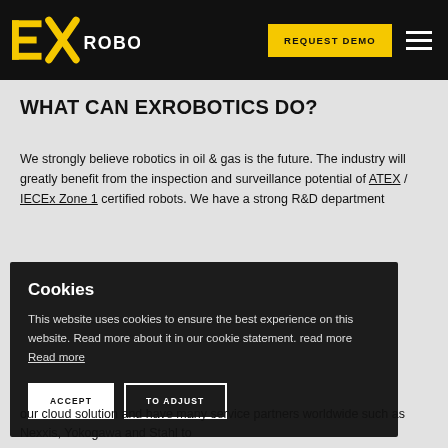[Figure (logo): EX Robotics logo — yellow stylized EX letters followed by 'ROBOTICS' in white on black background]
REQUEST DEMO
WHAT CAN EXROBOTICS DO?
We strongly believe robotics in oil & gas is the future. The industry will greatly benefit from the inspection and surveillance potential of ATEX / IECEx Zone 1 certified robots. We have a strong R&D department
Cookies
This website uses cookies to ensure the best experience on this website. Read more about it in our cookie statement. read more Read more
ACCEPT
TO ADJUST
our cloud solution and have many service partners worldwide such as Nexxis, Yokogawa and Stahl to